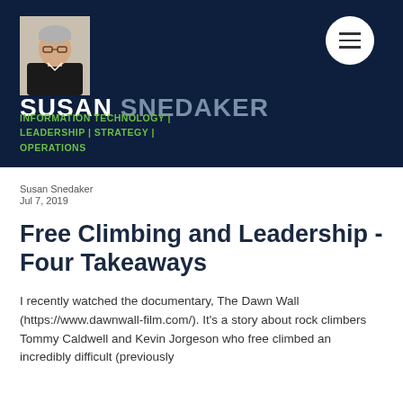[Figure (photo): Header banner with dark navy background, photo of Susan Snedaker (woman with short grey hair and glasses), hamburger menu icon (white circle with three lines), name 'SUSAN SNEDAKER' in large white/grey text, subtitle 'INFORMATION TECHNOLOGY | LEADERSHIP | STRATEGY | OPERATIONS' in green text]
Susan Snedaker
Jul 7, 2019
Free Climbing and Leadership - Four Takeaways
I recently watched the documentary, The Dawn Wall (https://www.dawnwall-film.com/). It's a story about rock climbers Tommy Caldwell and Kevin Jorgeson who free climbed an incredibly difficult (previously